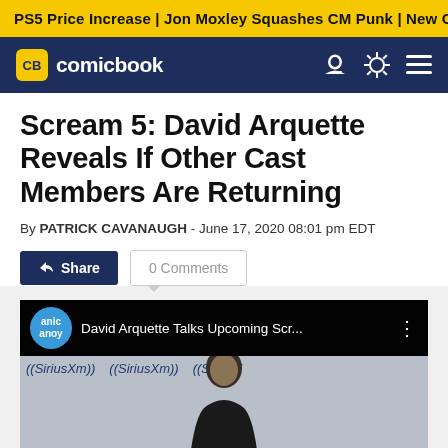PS5 Price Increase | Jon Moxley Squashes CM Punk | New Ge
CB comicbook
Scream 5: David Arquette Reveals If Other Cast Members Are Returning
By PATRICK CAVANAUGH - June 17, 2020 08:01 pm EDT
Share | 0 Comments
[Figure (screenshot): YouTube video thumbnail showing David Arquette at SiriusXM event with video title 'David Arquette Talks Upcoming Scr...' and SiriusXM branding in background]